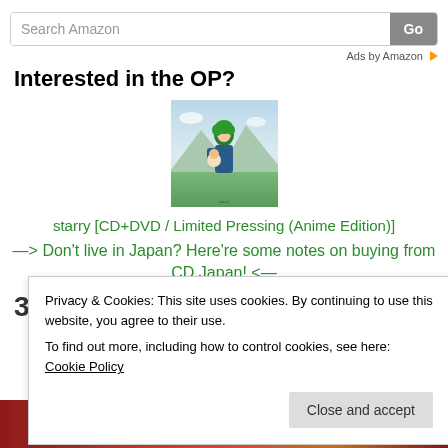[Figure (screenshot): Amazon search bar with text 'Search Amazon' and a 'Go' button]
Ads by Amazon ▷
Interested in the OP?
[Figure (illustration): Anime-style album cover with green-haired character holding another character, mountains and sky in background]
starry [CD+DVD / Limited Pressing (Anime Edition)]
—> Don't live in Japan? Here're some notes on buying from CD Japan! <—
3 Favorite Moments
Privacy & Cookies: This site uses cookies. By continuing to use this website, you agree to their use.
To find out more, including how to control cookies, see here: Cookie Policy
Close and accept